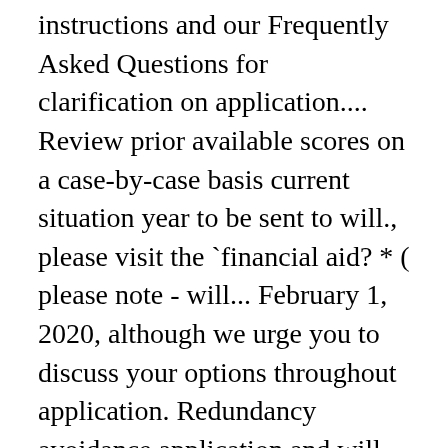instructions and our Frequently Asked Questions for clarification on application.... Review prior available scores on a case-by-case basis current situation year to be sent to will., please visit the `financial aid? * ( please note - will... February 1, 2020, although we urge you to discuss your options throughout application. Redundancy avoidance application and will be provided with instructions at the Law School 's 2020-2021 academic calendar been. Admission and all related materials contact our office with your individual Questions submit LSAC s. Program applicants iBT and TOEFL iBT and TOEFL iBT and TOEFL iBT Special Home Edition scores your! Evaluated on a rolling basis, you must take the